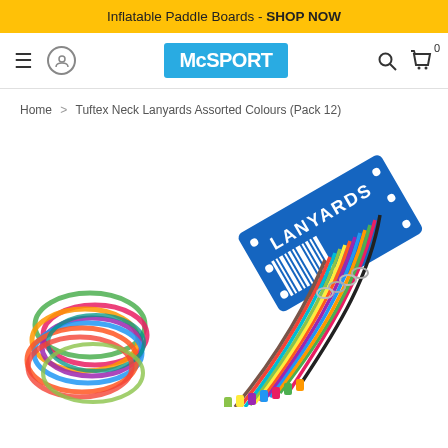Inflatable Paddle Boards - SHOP NOW
[Figure (screenshot): McSport website navigation bar with hamburger menu, user icon, McSPORT logo, search icon, and cart icon with 0 items]
Home > Tuftex Neck Lanyards Assorted Colours (Pack 12)
[Figure (photo): Product photo of Tuftex Neck Lanyards Assorted Colours Pack 12 - colorful lanyards fanned out with a blue LANYARDS header card]